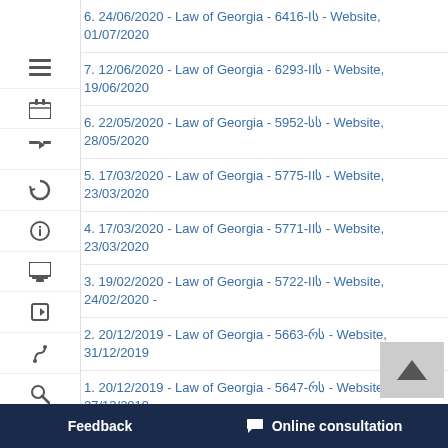1775 | 24/06/2005 | LHG, 40, 18/07/2005 | 300.310.000
7. 12/06/2020 - Law of Georgia - 6293-IIს - Website, 19/06/2020
6. 22/05/2020 - Law of Georgia - 5952-სს - Website, 28/05/2020
5. 17/03/2020 - Law of Georgia - 5775-IIს - Website, 23/03/2020
4. 17/03/2020 - Law of Georgia - 5771-IIს - Website, 23/03/2020
3. 19/02/2020 - Law of Georgia - 5722-IIს - Website, 24/02/2020 -
2. 20/12/2019 - Law of Georgia - 5663-რს - Website, 31/12/2019
1. 20/12/2019 - Law of Georgia - 5647-რს - Website, 27/12/2019
0. 20/12/2019 - Law of Georgia - 5696-რს - Website, 26/12/2019 -
9. 01/11/2019 - Law of Georgia - 5273-Iს - Website, 11/11/2019
8. 19/04/2019 - Law of Georgia - 4523-IIს - Website, 24/04/2019